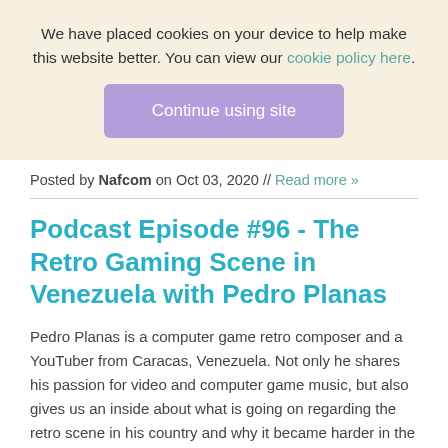We have placed cookies on your device to help make this website better. You can view our cookie policy here.
Continue using site
Posted by Nafcom on Oct 03, 2020 // Read more »
Podcast Episode #96 - The Retro Gaming Scene in Venezuela with Pedro Planas
Pedro Planas is a computer game retro composer and a YouTuber from Caracas, Venezuela. Not only he shares his passion for video and computer game music, but also gives us an inside about what is going on regarding the retro scene in his country and why it became harder in the last 11 years for the